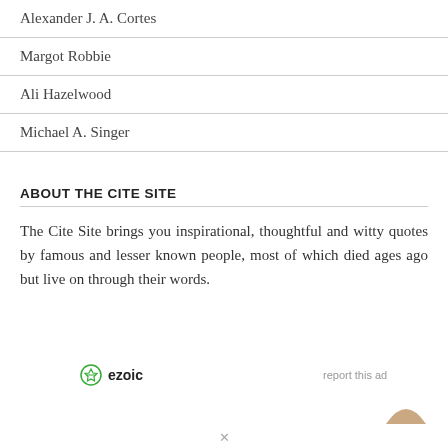Alexander J. A. Cortes
Margot Robbie
Ali Hazelwood
Michael A. Singer
ABOUT THE CITE SITE
The Cite Site brings you inspirational, thoughtful and witty quotes by famous and lesser known people, most of which died ages ago but live on through their words.